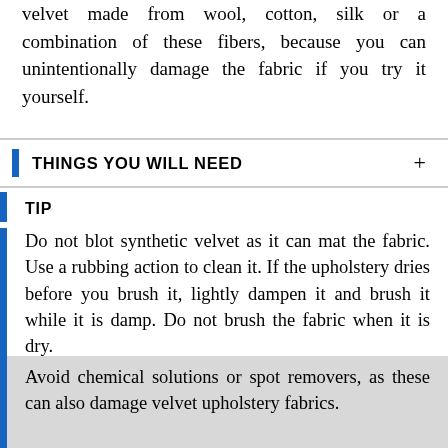velvet made from wool, cotton, silk or a combination of these fibers, because you can unintentionally damage the fabric if you try it yourself.
THINGS YOU WILL NEED
TIP
Do not blot synthetic velvet as it can mat the fabric. Use a rubbing action to clean it. If the upholstery dries before you brush it, lightly dampen it and brush it while it is damp. Do not brush the fabric when it is dry.
WARNING
If you attempt to clean wool, silk or cotton upholstery yourself, you can shrink or damage the upholstery fibers.
Avoid chemical solutions or spot removers, as these can also damage velvet upholstery fabrics.